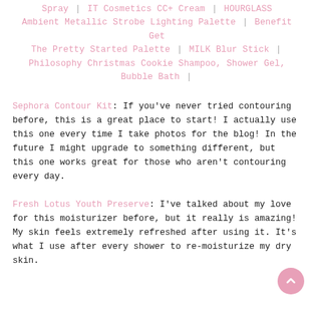Spray | IT Cosmetics CC+ Cream | HOURGLASS Ambient Metallic Strobe Lighting Palette | Benefit Get The Pretty Started Palette | MILK Blur Stick | Philosophy Christmas Cookie Shampoo, Shower Gel, Bubble Bath |
Sephora Contour Kit: If you've never tried contouring before, this is a great place to start! I actually use this one every time I take photos for the blog! In the future I might upgrade to something different, but this one works great for those who aren't contouring every day.
Fresh Lotus Youth Preserve: I've talked about my love for this moisturizer before, but it really is amazing! My skin feels extremely refreshed after using it. It's what I use after every shower to re-moisturize my dry skin.